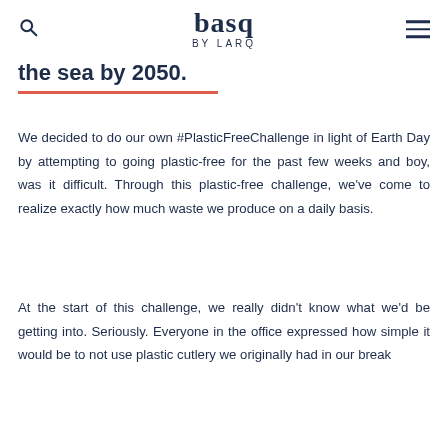basq by LARQ
the sea by 2050.
We decided to do our own #PlasticFreeChallenge in light of Earth Day by attempting to going plastic-free for the past few weeks and boy, was it difficult. Through this plastic-free challenge, we've come to realize exactly how much waste we produce on a daily basis.
At the start of this challenge, we really didn't know what we'd be getting into. Seriously. Everyone in the office expressed how simple it would be to not use plastic cutlery we originally had in our break